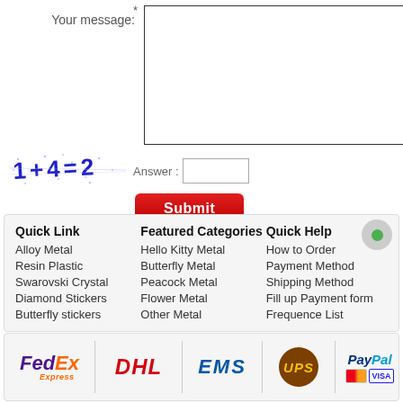Your message:
[Figure (other): CAPTCHA image showing math equation: 1+4=2 in blue distorted text]
Answer :
Submit
Quick Link
Featured Categories
Quick Help
Alloy Metal
Resin Plastic
Swarovski Crystal
Diamond Stickers
Butterfly stickers
Hello Kitty Metal
Butterfly Metal
Peacock Metal
Flower Metal
Other Metal
How to Order
Payment Method
Shipping Method
Fill up Payment form
Frequence List
[Figure (logo): FedEx Express logo]
[Figure (logo): DHL logo]
[Figure (logo): EMS logo]
[Figure (logo): UPS logo]
[Figure (logo): PayPal with Mastercard and VISA logos]